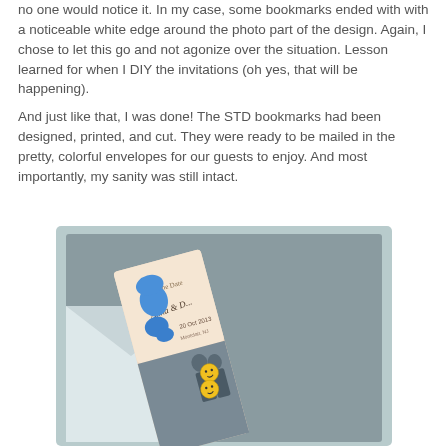no one would notice it. In my case, some bookmarks ended with with a noticeable white edge around the photo part of the design. Again, I chose to let this go and not agonize over the situation. Lesson learned for when I DIY the invitations (oh yes, that will be happening).
And just like that, I was done! The STD bookmarks had been designed, printed, and cut. They were ready to be mailed in the pretty, colorful envelopes for our guests to enjoy. And most importantly, my sanity was still intact.
[Figure (photo): A photo showing a Save the Date bookmark leaning against an envelope. The bookmark has text 'Save the Date', 'Anna & D...' with a date and location, decorated with blue smiley/teardrop shapes. Two yellow smiley face stickers are visible on the photo portion of the bookmark.]